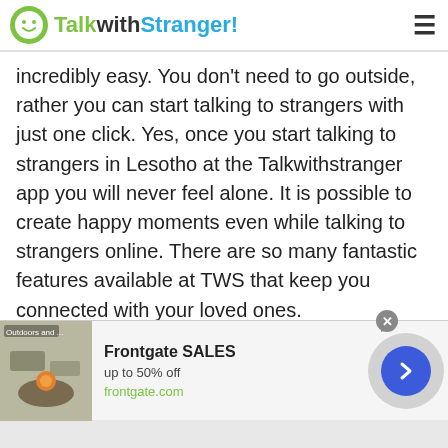TalkwithStranger!
incredibly easy. You don't need to go outside, rather you can start talking to strangers with just one click. Yes, once you start talking to strangers in Lesotho at the Talkwithstranger app you will never feel alone. It is possible to create happy moments even while talking to strangers online. There are so many fantastic features available at TWS that keep you connected with your loved ones.
So, if you ever feel alone and get rid of boredom during quarantine, start talking to strangers in Lesotho at TWS. Millions of female and male
[Figure (screenshot): Advertisement banner for Frontgate SALES showing outdoor furniture with fire pit, text 'up to 50% off', URL frontgate.com, with close button and next arrow button]